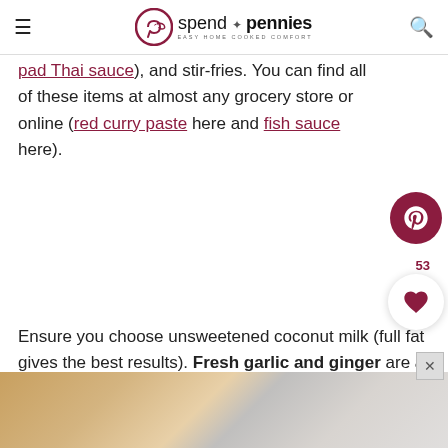spend with pennies — easy home cooked comfort
pad Thai sauce), and stir-fries. You can find all of these items at almost any grocery store or online (red curry paste here and fish sauce here).
Ensure you choose unsweetened coconut milk (full fat gives the best results). Fresh garlic and ginger are a must in this recipe and add so much flavor. Spice it up with a few dashes of Sriracha or Sambal or serve it on the side.
[Figure (photo): Food photo strip at bottom of page showing cooking ingredients or dish]